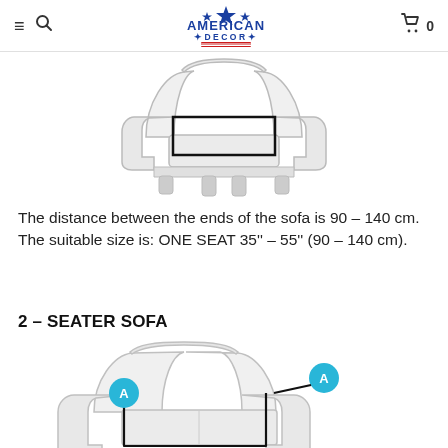American Decor — navigation header with logo, menu, search, and cart
[Figure (illustration): Line drawing of a single-seat armchair viewed from the front, with a black rectangle indicating the measurement area across the seat]
The distance between the ends of the sofa is 90 – 140 cm. The suitable size is: ONE SEAT 35'' – 55'' (90 – 140 cm).
2 – SEATER SOFA
[Figure (illustration): Line drawing of a 2-seater sofa with two cyan circles labeled 'A' on each arm, and a black measurement line connecting them across the top of the seat area]